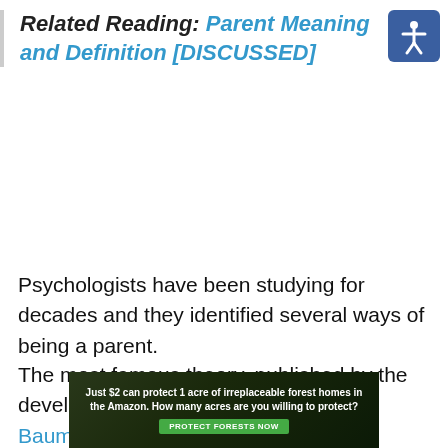Related Reading: Parent Meaning and Definition [DISCUSSED]
[Figure (other): Accessibility icon — circular figure with arms outstretched on blue rounded square background]
Psychologists have been studying for decades and they identified several ways of being a parent.
The most famous theory, published by the developmental psychologist Diana Baumrind in 1967 defines the 4
[Figure (other): Advertisement banner: forest/Amazon background with text 'Just $2 can protect 1 acre of irreplaceable forest homes in the Amazon. How many acres are you willing to protect?' and green button 'PROTECT FORESTS NOW']